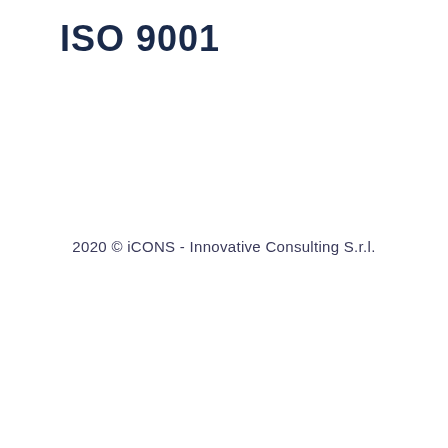ISO 9001
2020 © iCONS - Innovative Consulting S.r.l.
[Figure (screenshot): Website footer overlay showing cookie consent banner with social media icons (Facebook, Twitter, LinkedIn, Instagram), cookie notice text, Settings button, Decline/Accept/Allow all cookies buttons, and bottom navigation bar with Login, Most Popular, Courses, Advanced, Cart icons.]